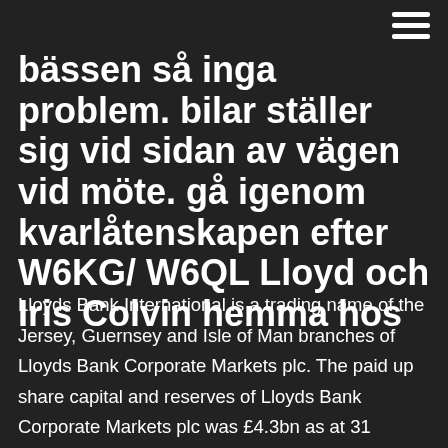bässen så inga problem. bilar ställer sig vid sidan av vägen vid möte. gå igenom kvarlåtenskapen efter W6KG/ W6QL Lloyd och Iris Colvin hemma hos
Lloyds Bank International is a trading name of the Jersey, Guernsey and Isle of Man branches of Lloyds Bank Corporate Markets plc. The paid up share capital and reserves of Lloyds Bank Corporate Markets plc was £4.3bn as at 31 December 2019 . Copies of our terms and conditions are available on request from the above registered office. SWIFT code: LOYDGB2LXXX. LLOYDS TSB BANK PLC. (U.K. INTERNATIONAL SERVICES) in LONDON. Swift codes, Business Identifier Codes (BIC codes) for